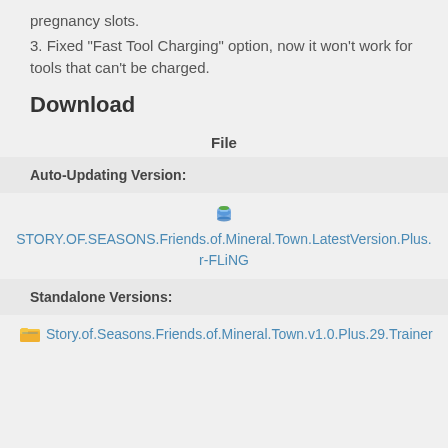pregnancy slots.
3. Fixed "Fast Tool Charging" option, now it won't work for tools that can't be charged.
Download
| File |
| --- |
| Auto-Updating Version: | STORY.OF.SEASONS.Friends.of.Mineral.Town.LatestVersion.Plus.r-FLiNG |
| Standalone Versions: | Story.of.Seasons.Friends.of.Mineral.Town.v1.0.Plus.29.Trainer |